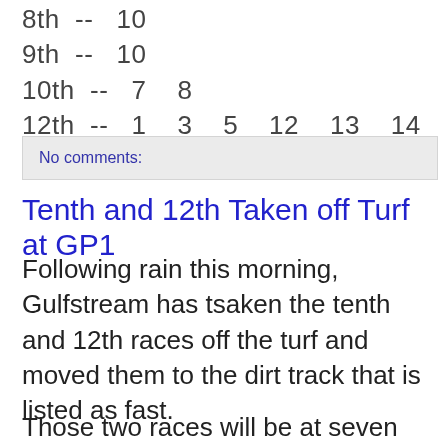8th  --  10
9th  --  10
10th  --  7   8
12th  --  1   3   5   12   13   14   15
No comments:
Tenth and 12th Taken off Turf at GP1
Following rain this morning, Gulfstream has tsaken the tenth and 12th races off the turf and moved them to the dirt track that is listed as fast.
Those two races will be at seven furlongs on dirt. They had been